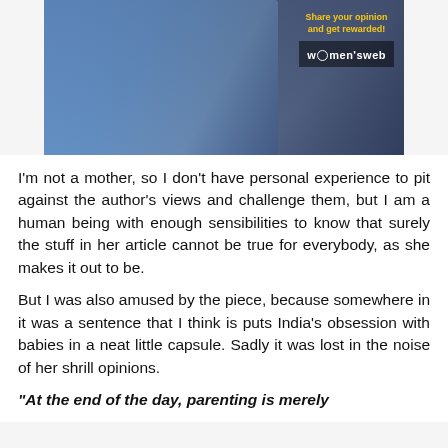[Figure (photo): Advertisement image showing a woman in a blue cardigan writing in a notebook at a desk. Overlay text in yellow reads 'Share your opinion and get rewarded!' with the Women's Web logo.]
I'm not a mother, so I don't have personal experience to pit against the author's views and challenge them, but I am a human being with enough sensibilities to know that surely the stuff in her article cannot be true for everybody, as she makes it out to be.
But I was also amused by the piece, because somewhere in it was a sentence that I think is puts India's obsession with babies in a neat little capsule. Sadly it was lost in the noise of her shrill opinions.
“At the end of the day, parenting is merely